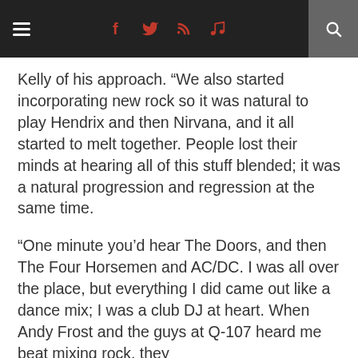≡  f  🐦  RSS  ♫  🔍
Kelly of his approach. “We also started incorporating new rock so it was natural to play Hendrix and then Nirvana, and it all started to melt together. People lost their minds at hearing all of this stuff blended; it was a natural progression and regression at the same time.
“One minute you’d hear The Doors, and then The Four Horsemen and AC/DC. I was all over the place, but everything I did came out like a dance mix; I was a club DJ at heart. When Andy Frost and the guys at Q-107 heard me beat mixing rock, they